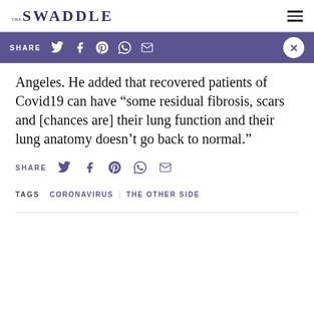THE SWADDLE
[Figure (screenshot): Social share bar with purple background showing SHARE label, Twitter, Facebook, Pinterest, WhatsApp, Email icons, and X close button]
Angeles. He added that recovered patients of Covid19 can have “some residual fibrosis, scars and [chances are] their lung function and their lung anatomy doesn’t go back to normal.”
[Figure (screenshot): Social share bar with white background showing SHARE label, Twitter, Facebook, Pinterest, WhatsApp, Email icons]
TAGS   CORONAVIRUS | THE OTHER SIDE